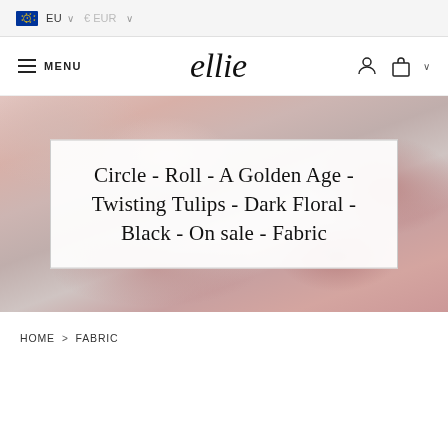EU  € EUR
MENU  ellie
Circle - Roll - A Golden Age - Twisting Tulips - Dark Floral - Black - On sale - Fabric
[Figure (photo): Close-up of folded pink and rose-colored fabric with soft shadows]
HOME > FABRIC